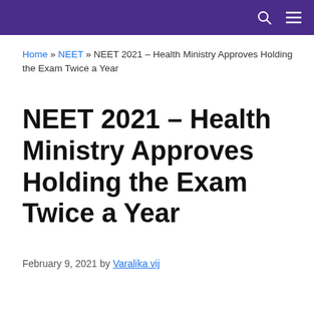[Navigation bar with search and menu icons]
Home » NEET » NEET 2021 – Health Ministry Approves Holding the Exam Twice a Year
NEET 2021 – Health Ministry Approves Holding the Exam Twice a Year
February 9, 2021 by Varalika vij